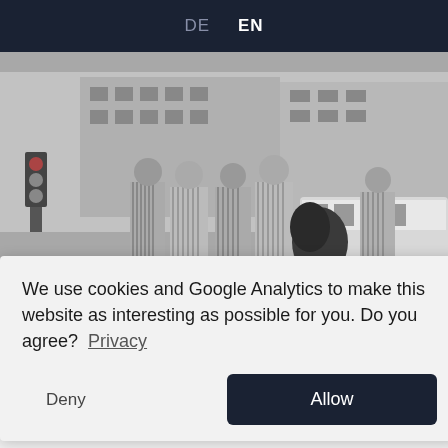DE  EN
[Figure (photo): Black and white photograph showing a group of people wearing striped concentration camp uniforms walking in a city street, with buildings and a bus in the background.]
We use cookies and Google Analytics to make this website as interesting as possible for you. Do you agree?  Privacy
Deny   Allow
Partner